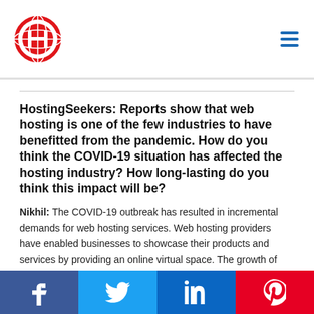HostingSeekers logo and navigation menu
HostingSeekers: Reports show that web hosting is one of the few industries to have benefitted from the pandemic. How do you think the COVID-19 situation has affected the hosting industry? How long-lasting do you think this impact will be?
Nikhil: The COVID-19 outbreak has resulted in incremental demands for web hosting services. Web hosting providers have enabled businesses to showcase their products and services by providing an online virtual space. The growth of
Facebook Twitter LinkedIn Pinterest